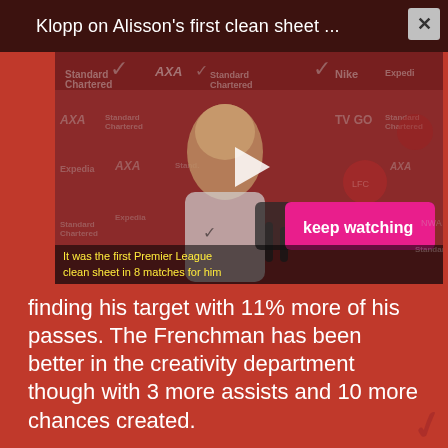Klopp on Alisson's first clean sheet ...
[Figure (screenshot): Video thumbnail showing Jurgen Klopp at a press conference with Liverpool sponsor logos (Standard Chartered, AXA, Nike, Expedia) in background. A play button is visible in the center. A 'keep watching' button appears bottom right. Yellow subtitle text reads: 'It was the first Premier League clean sheet in 8 matches for him']
finding his target with 11% more of his passes. The Frenchman has been better in the creativity department though with 3 more assists and 10 more chances created.